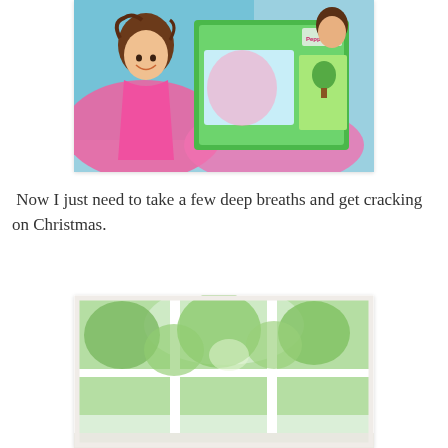[Figure (photo): A smiling young girl with curly brown hair, wearing a pink dress, holding a Peppa Pig toy set box. Colorful background with party decorations and pink tissue paper.]
Now I just need to take a few deep breaths and get cracking on Christmas.
[Figure (photo): A large white-framed window with multiple panes showing green trees and foliage outside on a bright day.]